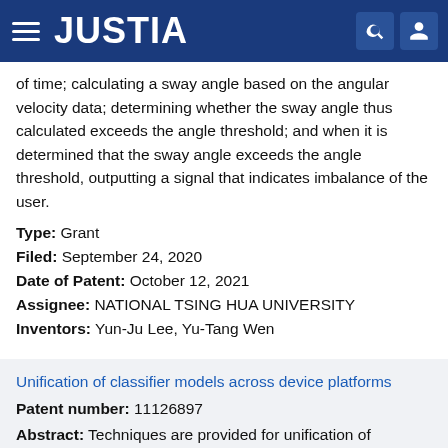JUSTIA
of time; calculating a sway angle based on the angular velocity data; determining whether the sway angle thus calculated exceeds the angle threshold; and when it is determined that the sway angle exceeds the angle threshold, outputting a signal that indicates imbalance of the user.
Type: Grant
Filed: September 24, 2020
Date of Patent: October 12, 2021
Assignee: NATIONAL TSING HUA UNIVERSITY
Inventors: Yun-Ju Lee, Yu-Tang Wen
Unification of classifier models across device platforms
Patent number: 11126897
Abstract: Techniques are provided for unification of classifier models across device platforms of varying form factors and/or sensor calibrations. A methodology